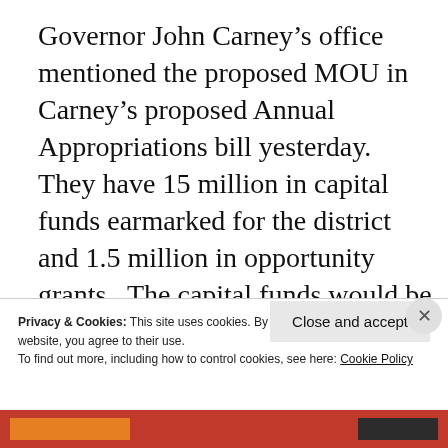Governor John Carney's office mentioned the proposed MOU in Carney's proposed Annual Appropriations bill yesterday.  They have 15 million in capital funds earmarked for the district and 1.5 million in opportunity grants.  The capital funds would be used for construction costs for some of their Wilmington schools the
Privacy & Cookies: This site uses cookies. By continuing to use this website, you agree to their use.
To find out more, including how to control cookies, see here: Cookie Policy